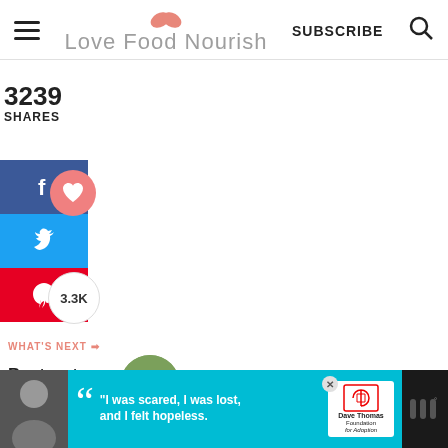[Figure (logo): Love Food Nourish website header with hamburger menu, logo with pink leaf icon, SUBSCRIBE text, and search icon]
3239
SHARES
[Figure (infographic): Social media share buttons: Facebook (blue), Twitter (blue), Pinterest (red), with heart save button, 3.3K share count, and share icon circle]
WHAT'S NEXT → Beetroot, Avocado &...
[Figure (photo): Advertisement banner: Dave Thomas Foundation for Adoption - 'I was scared, I was lost, and I felt hopeless.']